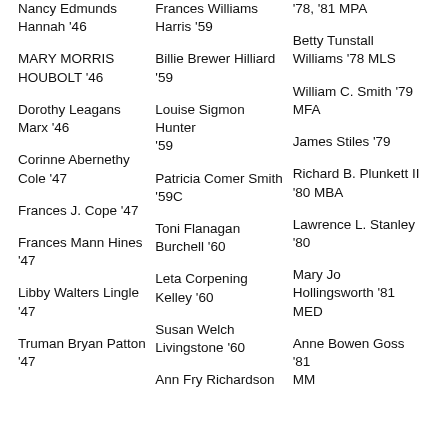'78, '81 MPA
Nancy Edmunds Hannah '46
Frances Williams Harris '59
Betty Tunstall Williams '78 MLS
MARY MORRIS HOUBOLT '46
Billie Brewer Hilliard '59
William C. Smith '79 MFA
Dorothy Leagans Marx '46
Louise Sigmon Hunter '59
James Stiles '79
Corinne Abernethy Cole '47
Patricia Comer Smith '59C
Richard B. Plunkett II '80 MBA
Frances J. Cope '47
Toni Flanagan Burchell '60
Lawrence L. Stanley '80
Frances Mann Hines '47
Leta Corpening Kelley '60
Mary Jo Hollingsworth '81 MED
Libby Walters Lingle '47
Susan Welch Livingstone '60
Anne Bowen Goss '81 MM
Truman Bryan Patton '47
Ann Fry Richardson